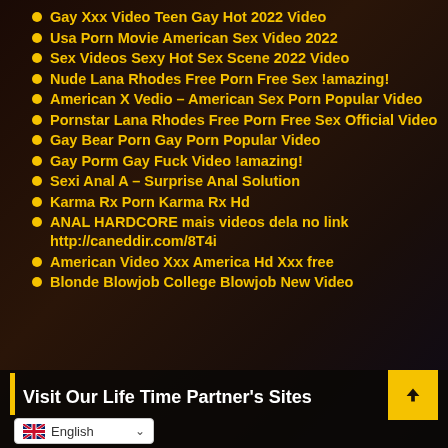Gay Xxx Video Teen Gay Hot 2022 Video
Usa Porn Movie American Sex Video 2022
Sex Videos Sexy Hot Sex Scene 2022 Video
Nude Lana Rhodes Free Porn Free Sex !amazing!
American X Vedio – American Sex Porn Popular Video
Pornstar Lana Rhodes Free Porn Free Sex Official Video
Gay Bear Porn Gay Porn Popular Video
Gay Porm Gay Fuck Video !amazing!
Sexi Anal A – Surprise Anal Solution
Karma Rx Porn Karma Rx Hd
ANAL HARDCORE mais videos dela no link http://caneddir.com/8T4i
American Video Xxx America Hd Xxx free
Blonde Blowjob College Blowjob New Video
Visit Our Life Time Partner's Sites
English